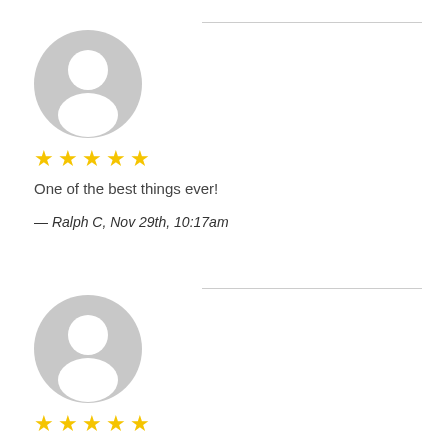[Figure (illustration): Grey circular user avatar icon, first review]
★★★★★
One of the best things ever!
— Ralph C, Nov 29th, 10:17am
[Figure (illustration): Grey circular user avatar icon, second review]
★★★★★
This is the best thing since electricity developed.Peace again in the living room at night.I am telling all my friends of this miracle peace.Thanks
— Pat E, Nov 29th, 10:29am